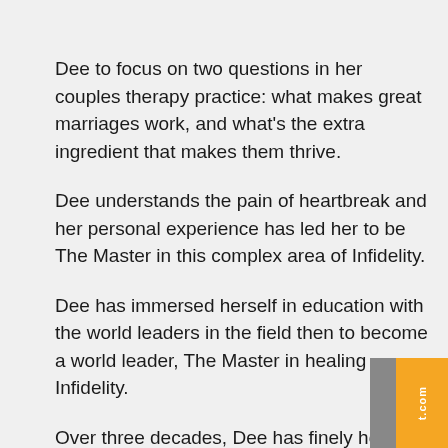Dee to focus on two questions in her couples therapy practice: what makes great marriages work, and what's the extra ingredient that makes them thrive.
Dee understands the pain of heartbreak and her personal experience has led her to be The Master in this complex area of Infidelity.
Dee has immersed herself in education with the world leaders in the field then to become a world leader, The Master in healing Infidelity.
Over three decades, Dee has finely honed her coaching skills around her belief that when the right techniques are applied at the right time, marriages